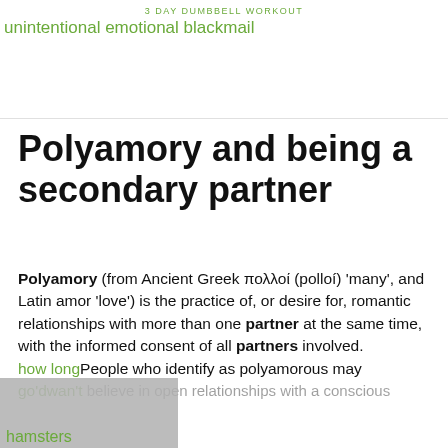3 DAY DUMBBELL WORKOUT
unintentional emotional blackmail
Polyamory and being a secondary partner
Polyamory (from Ancient Greek πολλοί (polloí) 'many', and Latin amor 'love') is the practice of, or desire for, romantic relationships with more than one partner at the same time, with the informed consent of all partners involved. People who identify as polyamorous may believe in open relationships with a conscious…
how long
go'dwan't
hamsters